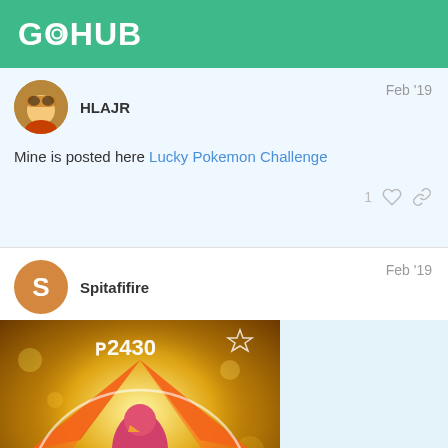GOHUB
HLAJR — Feb '19
Mine is posted here Lucky Pokemon Challenge
Spitafifire — Feb '19
[Figure (screenshot): Pokemon GO screenshot showing a Ho-Oh encounter with CP 2430 and a shiny star icon. A Poke Ball icon is on the left side.]
181 / 342